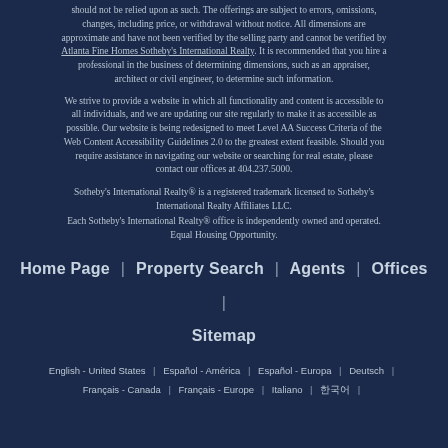should not be relied upon as such. The offerings are subject to errors, omissions, changes, including price, or withdrawal without notice. All dimensions are approximate and have not been verified by the selling party and cannot be verified by Atlanta Fine Homes Sotheby's International Realty. It is recommended that you hire a professional in the business of determining dimensions, such as an appraiser, architect or civil engineer, to determine such information.
We strive to provide a website in which all functionality and content is accessible to all individuals, and we are updating our site regularly to make it as accessible as possible. Our website is being redesigned to meet Level AA Success Criteria of the Web Content Accessibility Guidelines 2.0 to the greatest extent feasible. Should you require assistance in navigating our website or searching for real estate, please contact our offices at 404.237.5000.
Sotheby's International Realty® is a registered trademark licensed to Sotheby's International Realty Affiliates LLC.
Each Sotheby's International Realty® office is independently owned and operated.
Equal Housing Opportunity.
Home Page | Property Search | Agents | Offices | Sitemap
English - United States | Español - América | Español - Europa | Deutsch | Français - Canada | Français - Europe | Italiano | 한국어 |